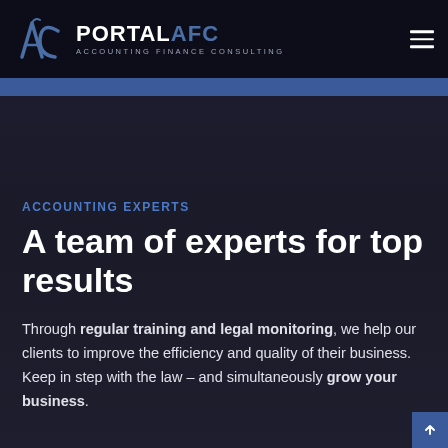[Figure (logo): Portal AFC logo — stylized AC monogram in blue with text PORTAL AFC ACCOUNTING FINANCE CONSULTING on dark background header]
ACCOUNTING EXPERTS
A team of experts for top results
Through regular training and legal monitoring, we help our clients to improve the efficiency and quality of their business. Keep in step with the law – and simultaneously grow your business.